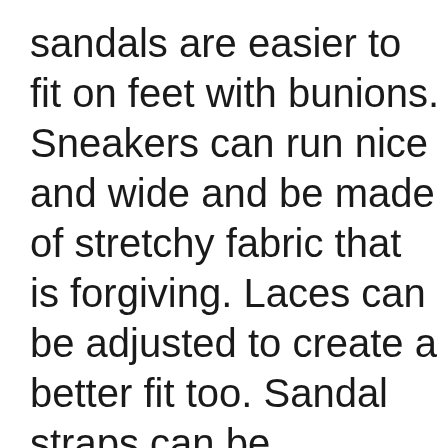sandals are easier to fit on feet with bunions. Sneakers can run nice and wide and be made of stretchy fabric that is forgiving. Laces can be adjusted to create a better fit too. Sandal straps can be positioned around, instead of over, the bunion, eliminating foot stress. Toe exposure gives toes room to breathe too. It's dressy shoes with closed toe boxes that are the hardest to fit